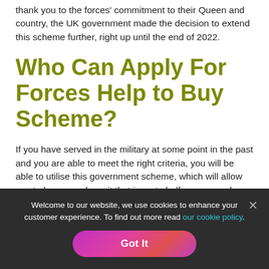thank you to the forces' commitment to their Queen and country, the UK government made the decision to extend this scheme further, right up until the end of 2022.
Who Can Apply For Forces Help to Buy Scheme?
If you have served in the military at some point in the past and you are able to meet the right criteria, you will be able to utilise this government scheme, which will allow you to borrow a deposit that is up to half your annual salary (with a maximum of £25,000), without additional interest on top.
Welcome to our website, we use cookies to enhance your customer experience. To find out more read our cookie policy.
Got It